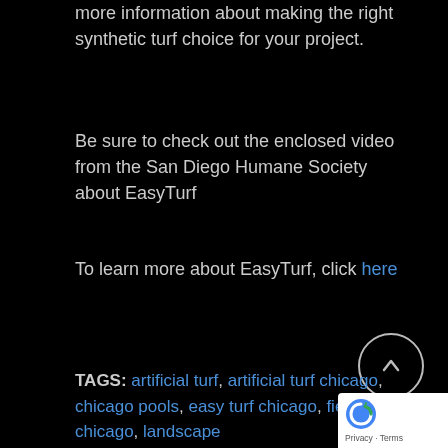more information about making the right synthetic turf choice for your project.
Be sure to check out the enclosed video from the San Diego Humane Society about EasyTurf
To learn more about EasyTurf, click here
TAGS: artificial turf, artificial turf chicago, chicago pools, easy turf chicago, field turf chicago, landscape